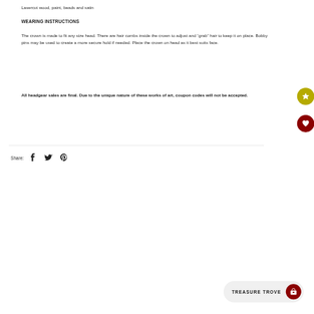Lasercut wood, paint, beads and satin
WEARING INSTRUCTIONS
The crown is made to fit any size head. There are hair combs inside the crown to adjust and “grab” hair to keep it on place. Bobby pins may be used to create a more secure hold if needed. Place the crown on head as it best suits face.
All headgear sales are final. Due to the unique nature of these works of art, coupon codes will not be accepted.
Share:
TREASURE TROVE